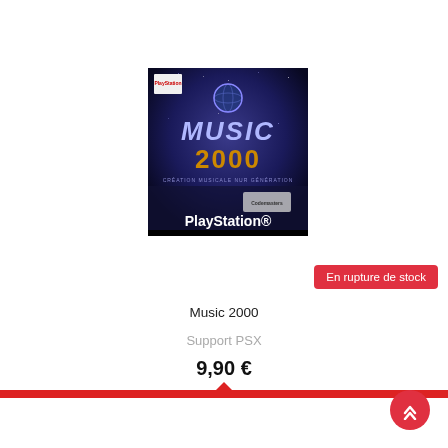[Figure (photo): PlayStation game cover for Music 2000, dark blue cosmic background with MUSIC 2000 text and PlayStation logo at the bottom]
En rupture de stock
Music 2000
Support PSX
9,90 €